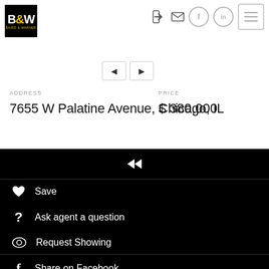[Figure (logo): Baird & Warner B&W logo, black background with yellow ampersand]
[Figure (screenshot): Navigation arrow buttons (left/right) and hamburger menu icon]
ADDRESS
7655 W Palatine Avenue, Chicago, IL
PRICE
$ 380,000
Save
Ask agent a question
Request Showing
Share on Facebook